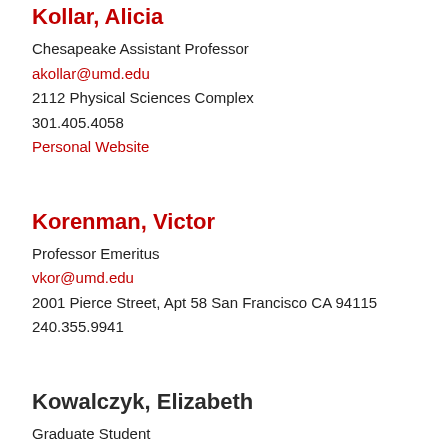Kollar, Alicia
Chesapeake Assistant Professor
akollar@umd.edu
2112 Physical Sciences Complex
301.405.4058
Personal Website
Korenman, Victor
Professor Emeritus
vkor@umd.edu
2001 Pierce Street, Apt 58 San Francisco CA 94115
240.355.9941
Kowalczyk, Elizabeth
Graduate Student
ekowal@umd.edu